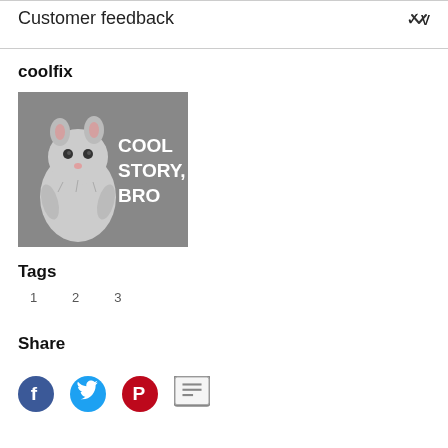Customer feedback
coolfix
[Figure (photo): Meme image with a chinchilla and text reading COOL STORY, BRO on a grey background]
Tags
1  2  3
Share
[Figure (infographic): Social sharing icons: Facebook, Twitter/bird, Pinterest/circle, and a share/link icon]